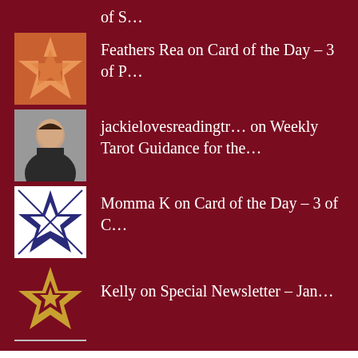of S...
[Figure (illustration): Orange geometric quilt-pattern avatar for Feathers Rea]
Feathers Rea on Card of the Day – 3 of P...
[Figure (photo): Photo of a woman with dark hair wearing a black top]
jackielovesreadingtr... on Weekly Tarot Guidance for the...
[Figure (illustration): Black and white geometric quilt-pattern avatar for Momma K]
Momma K on Card of the Day – 3 of C...
[Figure (illustration): Gold geometric quilt-pattern avatar for Kelly]
Kelly on Special Newsletter – Jan...
Archives
September 2022
August 2022